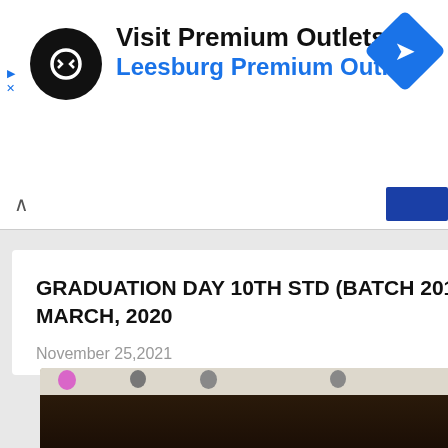[Figure (infographic): Advertisement banner: Premium Outlets logo (black circle with white infinity-like symbol), text 'Visit Premium Outlets®' and 'Leesburg Premium Outlets' in blue, blue diamond navigation icon on right, small play and close icons on left.]
Visit Premium Outlets®
Leesburg Premium Outlets
GRADUATION DAY 10TH STD (BATCH 2019-20) 09 MARCH, 2020
November 25,2021
[Figure (photo): Indoor photo of a large group of students in graduation gowns (black) and caps seated in a hall decorated with pink and grey balloons on the ceiling.]
GRV Sc orga Grad Day f Std s (201